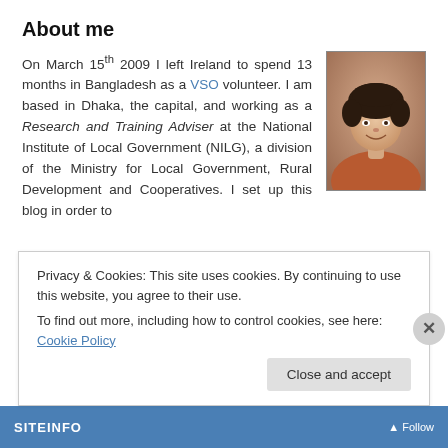About me
[Figure (photo): Portrait photo of a woman with curly dark hair, smiling, wearing an orange/rust colored top]
On March 15th 2009 I left Ireland to spend 13 months in Bangladesh as a VSO volunteer. I am based in Dhaka, the capital, and working as a Research and Training Adviser at the National Institute of Local Government (NILG), a division of the Ministry for Local Government, Rural Development and Cooperatives. I set up this blog in order to
Privacy & Cookies: This site uses cookies. By continuing to use this website, you agree to their use.
To find out more, including how to control cookies, see here: Cookie Policy
Close and accept